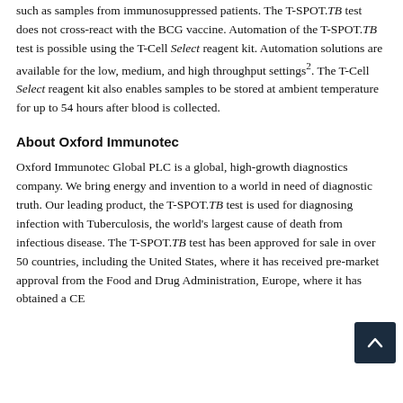such as samples from immunosuppressed patients. The T-SPOT.TB test does not cross-react with the BCG vaccine. Automation of the T-SPOT.TB test is possible using the T-Cell Select reagent kit. Automation solutions are available for the low, medium, and high throughput settings². The T-Cell Select reagent kit also enables samples to be stored at ambient temperature for up to 54 hours after blood is collected.
About Oxford Immunotec
Oxford Immunotec Global PLC is a global, high-growth diagnostics company. We bring energy and invention to a world in need of diagnostic truth. Our leading product, the T-SPOT.TB test is used for diagnosing infection with Tuberculosis, the world's largest cause of death from infectious disease. The T-SPOT.TB test has been approved for sale in over 50 countries, including the United States, where it has received pre-market approval from the Food and Drug Administration, Europe, where it has obtained a CE